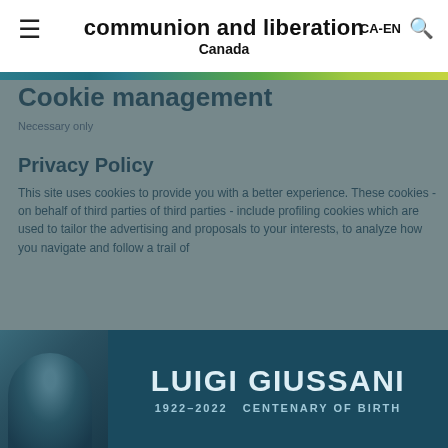communion and liberation
Canada
CA-EN
Cookie management
Necessary only
Privacy Policy
This site uses cookies to provide you with a better experience. These cookies - on behalf of third parties of third parties - include profiling cookies which are used to tailor the advertising and proposals to your interests, to analyze how you navigate and follow a trail of...
[Figure (photo): Banner with a photo portrait on the left and large text reading LUIGI GIUSSANI 1922-2022 CENTENARY OF BIRTH on a dark teal/blue background]